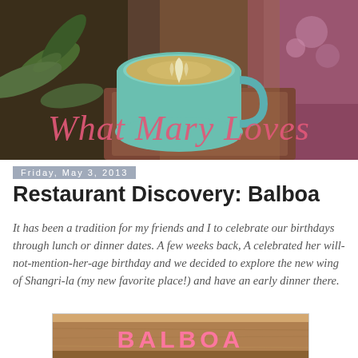[Figure (photo): Blog header banner showing a matcha latte in a teal cup with latte art, surrounded by plants and textiles, with blog title 'What Mary Loves' overlaid in pink cursive script]
Friday, May 3, 2013
Restaurant Discovery: Balboa
It has been a tradition for my friends and I to celebrate our birthdays through lunch or dinner dates. A few weeks back, A celebrated her will-not-mention-her-age birthday and we decided to explore the new wing of Shangri-la (my new favorite place!) and have an early dinner there.
[Figure (photo): Photo of Balboa restaurant sign — illuminated pink/neon letters spelling BALBOA on a wooden background]